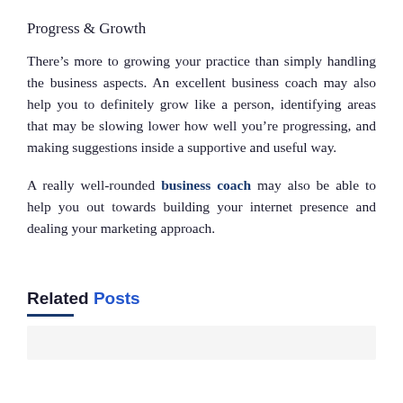Progress & Growth
There’s more to growing your practice than simply handling the business aspects. An excellent business coach may also help you to definitely grow like a person, identifying areas that may be slowing lower how well you’re progressing, and making suggestions inside a supportive and useful way.
A really well-rounded business coach may also be able to help you out towards building your internet presence and dealing your marketing approach.
Related Posts